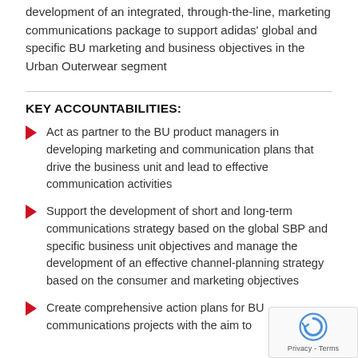development of an integrated, through-the-line, marketing communications package to support adidas' global and specific BU marketing and business objectives in the Urban Outerwear segment
KEY ACCOUNTABILITIES:
Act as partner to the BU product managers in developing marketing and communication plans that drive the business unit and lead to effective communication activities
Support the development of short and long-term communications strategy based on the global SBP and specific business unit objectives and manage the development of an effective channel-planning strategy based on the consumer and marketing objectives
Create comprehensive action plans for BU communications projects with the aim to